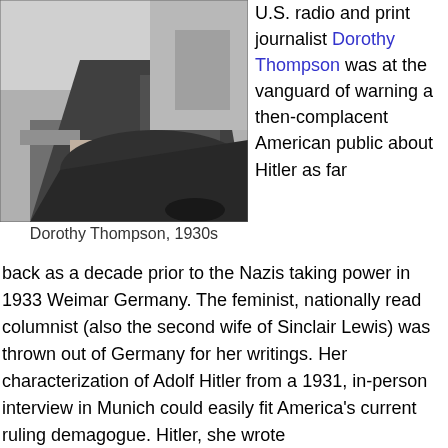[Figure (photo): Black and white photograph of Dorothy Thompson seated in a chair wearing a dark evening gown, 1930s]
Dorothy Thompson, 1930s
U.S. radio and print journalist Dorothy Thompson was at the vanguard of warning a then-complacent American public about Hitler as far back as a decade prior to the Nazis taking power in 1933 Weimar Germany. The feminist, nationally read columnist (also the second wife of Sinclair Lewis) was thrown out of Germany for her writings. Her characterization of Adolf Hitler from a 1931, in-person interview in Munich could easily fit America's current ruling demagogue. Hitler, she wrote
back as a decade prior to the Nazis taking power in 1933 Weimar Germany. The feminist, nationally read columnist (also the second wife of Sinclair Lewis) was thrown out of Germany for her writings. Her characterization of Adolf Hitler from a 1931, in-person interview in Munich could easily fit America's current ruling demagogue. Hitler, she wrote